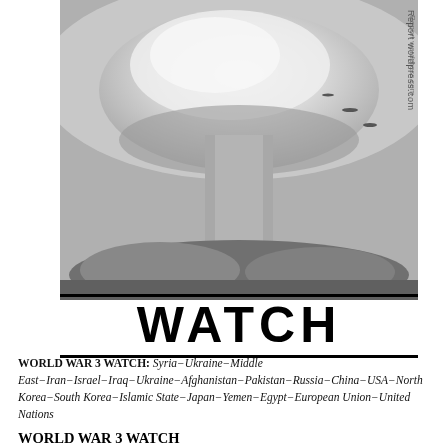[Figure (photo): Black and white photograph of a nuclear mushroom cloud explosion with aircraft visible, watermark text 'Report wordpress.com' along right edge]
WATCH
WORLD WAR 3 WATCH: Syria-Ukraine-Middle East-Iran-Israel-Iraq-Ukraine-Afghanistan-Pakistan-Russia-China-USA-North Korea-South Korea-Islamic State-Japan-Yemen-Egypt-European Union-United Nations
WORLD WAR 3 WATCH
August15, 2016
End Times Prophecy Report